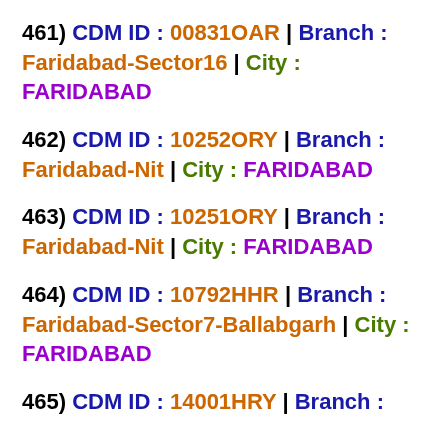461) CDM ID : 00831OAR | Branch : Faridabad-Sector16 | City : FARIDABAD
462) CDM ID : 10252ORY | Branch : Faridabad-Nit | City : FARIDABAD
463) CDM ID : 10251ORY | Branch : Faridabad-Nit | City : FARIDABAD
464) CDM ID : 10792HHR | Branch : Faridabad-Sector7-Ballabgarh | City : FARIDABAD
465) CDM ID : 14001HRY | Branch :